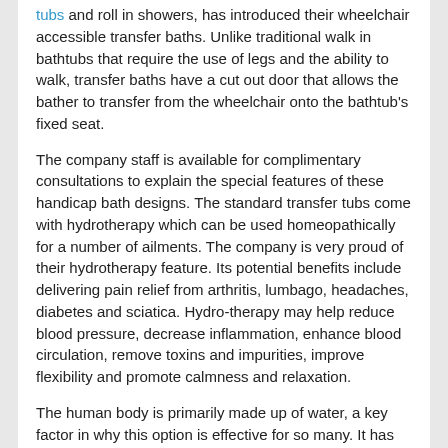tubs and roll in showers, has introduced their wheelchair accessible transfer baths. Unlike traditional walk in bathtubs that require the use of legs and the ability to walk, transfer baths have a cut out door that allows the bather to transfer from the wheelchair onto the bathtub's fixed seat.
The company staff is available for complimentary consultations to explain the special features of these handicap bath designs. The standard transfer tubs come with hydrotherapy which can be used homeopathically for a number of ailments. The company is very proud of their hydrotherapy feature. Its potential benefits include delivering pain relief from arthritis, lumbago, headaches, diabetes and sciatica. Hydro-therapy may help reduce blood pressure, decrease inflammation, enhance blood circulation, remove toxins and impurities, improve flexibility and promote calmness and relaxation.
The human body is primarily made up of water, a key factor in why this option is effective for so many. It has been recognized for its healing properties for centuries. The combination of water, heat and air has been shown to aid in pain management and promote overall health and well-being. The skin's light touch receptors react to thermal stimuli by opening the pores, allowing for toxins to exit the body as hydration occurs.